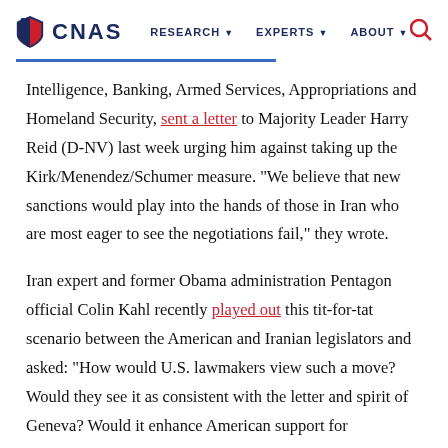CNAS  RESEARCH  EXPERTS  ABOUT
Intelligence, Banking, Armed Services, Appropriations and Homeland Security, sent a letter to Majority Leader Harry Reid (D-NV) last week urging him against taking up the Kirk/Menendez/Schumer measure. “We believe that new sanctions would play into the hands of those in Iran who are most eager to see the negotiations fail,” they wrote.
Iran expert and former Obama administration Pentagon official Colin Kahl recently played out this tit-for-tat scenario between the American and Iranian legislators and asked: “How would U.S. lawmakers view such a move? Would they see it as consistent with the letter and spirit of Geneva? Would it enhance American support for diplomacy? Would the threatened Iranian escalation be helpful to Obama as he